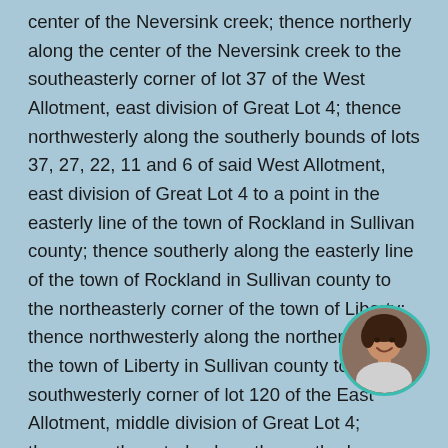center of the Neversink creek; thence northerly along the center of the Neversink creek to the southeasterly corner of lot 37 of the West Allotment, east division of Great Lot 4; thence northwesterly along the southerly bounds of lots 37, 27, 22, 11 and 6 of said West Allotment, east division of Great Lot 4 to a point in the easterly line of the town of Rockland in Sullivan county; thence southerly along the easterly line of the town of Rockland in Sullivan county to the northeasterly corner of the town of Liberty; thence northwesterly along the northerly line of the town of Liberty in Sullivan county to the southwesterly corner of lot 120 of the East Allotment, middle division of Great Lot 4; thence northwesterly along the southerly bounds of lots 119 and 118 of the East Allotment, middle division of Great Lot 4 to a point in the center of the Willowemoc creek; thence westerly down the center of the Willowemoc creek to its confluence with the Beaverkill; thence
[Figure (photo): Circular avatar photo of a woman smiling, with a teal/green circular border]